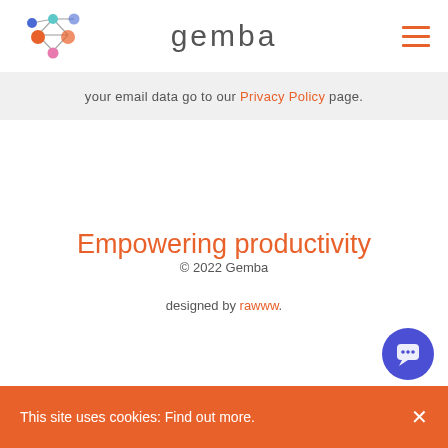[Figure (logo): Gemba logo: colorful network/molecule icon with blue, orange, pink, and teal nodes connected by lines]
gemba
your email data go to our Privacy Policy page.
Empowering productivity
© 2022 Gemba
designed by rawww.
This site uses cookies: Find out more.  ×